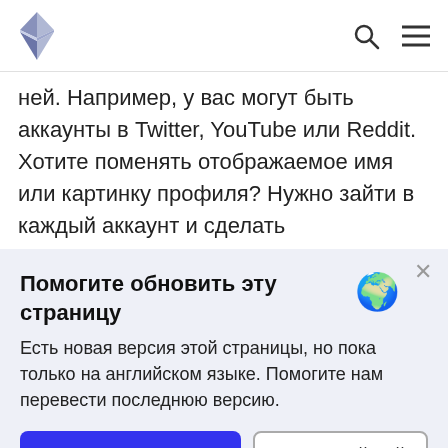[Ethereum logo] [search icon] [menu icon]
ней. Например, у вас могут быть аккаунты в Twitter, YouTube или Reddit. Хотите поменять отображаемое имя или картинку профиля? Нужно зайти в каждый аккаунт и сделать
Помогите обновить эту страницу
Есть новая версия этой страницы, но пока только на английском языке. Помогите нам перевести последнюю версию.
Перевести страницу | См. английский